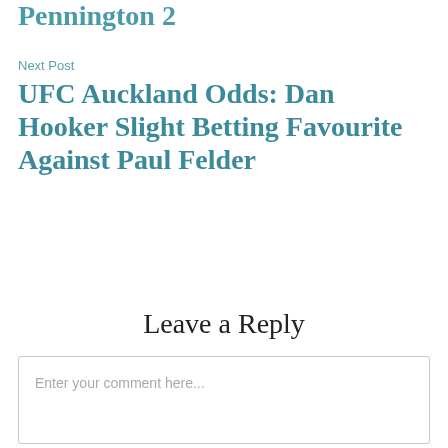Pennington 2
Next Post
UFC Auckland Odds: Dan Hooker Slight Betting Favourite Against Paul Felder
Leave a Reply
Enter your comment here...